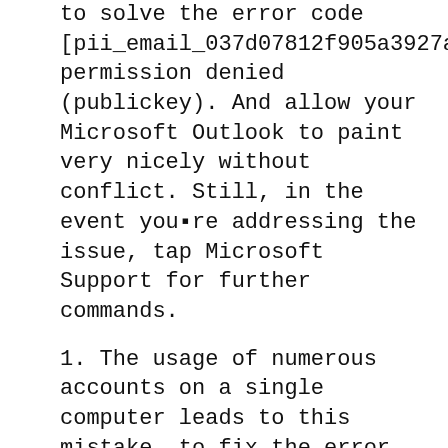to solve the error code [pii_email_037d07812f905a3927ae]: permission denied (publickey). And allow your Microsoft Outlook to paint very nicely without conflict. Still, in the event you're addressing the issue, tap Microsoft Support for further commands.
1. The usage of numerous accounts on a single computer leads to this mistake, to fix the error due to this attempt logging out of all the accounts present. And logging with one account. error.
2. [pii_email_037d07812f905a3927ae]: